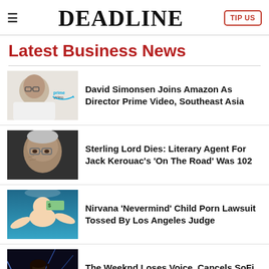DEADLINE | TIP US
Latest Business News
David Simonsen Joins Amazon As Director Prime Video, Southeast Asia
Sterling Lord Dies: Literary Agent For Jack Kerouac's 'On The Road' Was 102
Nirvana 'Nevermind' Child Porn Lawsuit Tossed By Los Angeles Judge
The Weeknd Loses Voice, Cancels SoFi Stadium Show After Three Songs